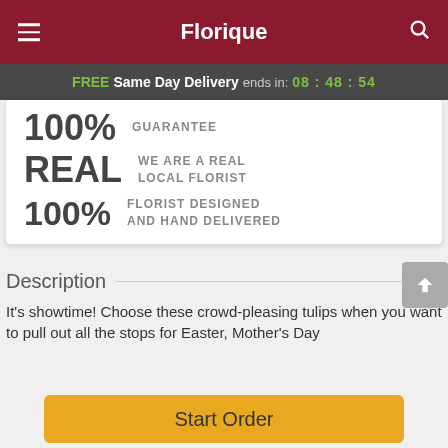Florique
FREE Same Day Delivery ends in: 08 : 48 : 54
100% GUARANTEE
REAL WE ARE A REAL LOCAL FLORIST
100% FLORIST DESIGNED AND HAND DELIVERED
Description
It's showtime! Choose these crowd-pleasing tulips when you want to pull out all the stops for Easter, Mother's Day...
Start Order